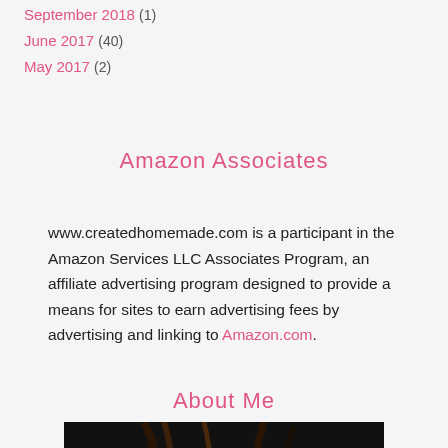September 2018 (1)
June 2017 (40)
May 2017 (2)
Amazon Associates
www.createdhomemade.com is a participant in the Amazon Services LLC Associates Program, an affiliate advertising program designed to provide a means for sites to earn advertising fees by advertising and linking to Amazon.com.
About Me
[Figure (photo): Portrait photo of a woman with brown hair against a dark background, cropped to show the top of her head and hair]